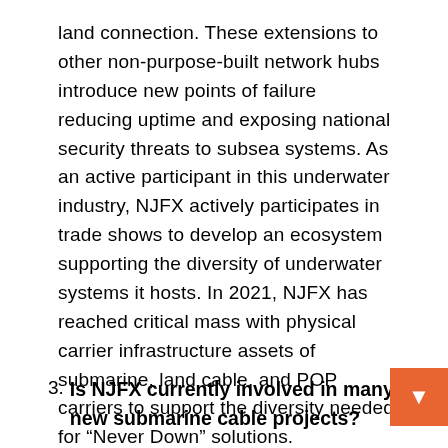land connection. These extensions to other non-purpose-built network hubs introduce new points of failure reducing uptime and exposing national security threats to subsea systems. As an active participant in this underwater industry, NJFX actively participates in trade shows to develop an ecosystem supporting the diversity of underwater systems it hosts. In 2021, NJFX has reached critical mass with physical carrier infrastructure assets of submarine, land cable, and POP carriers to support the diversity needed for “Never Down” solutions.
3. Is NJFX currently involved in many new submarine cable projects?